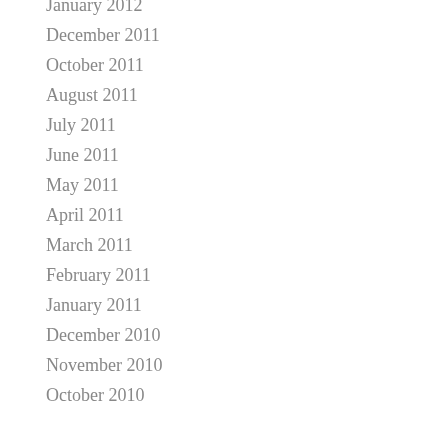January 2012
December 2011
October 2011
August 2011
July 2011
June 2011
May 2011
April 2011
March 2011
February 2011
January 2011
December 2010
November 2010
October 2010